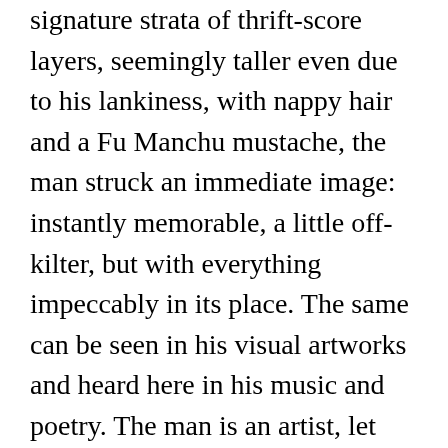signature strata of thrift-score layers, seemingly taller even due to his lankiness, with nappy hair and a Fu Manchu mustache, the man struck an immediate image: instantly memorable, a little off-kilter, but with everything impeccably in its place. The same can be seen in his visual artworks and heard here in his music and poetry. The man is an artist, let there be no doubt, but moreover, you could say HE is art, and his work is just an extension of the man. In everything I've ever encountered regarding him, there is a rock-solid deliberateness and a deep sense of craft. Listen to any of his records, it's